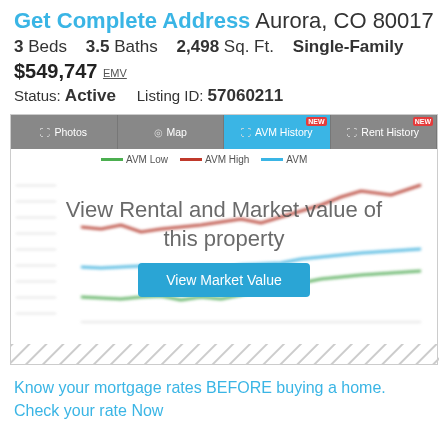Get Complete Address Aurora, CO 80017
3 Beds   3.5 Baths   2,498 Sq. Ft.   Single-Family
$549,747 EMV
Status: Active    Listing ID: 57060211
[Figure (line-chart): AVM History line chart showing AVM Low (green), AVM High (red), and AVM (blue) trend lines over time. Chart is blurred/gated with overlay text 'View Rental and Market value of this property' and a 'View Market Value' button.]
Know your mortgage rates BEFORE buying a home. Check your rate Now